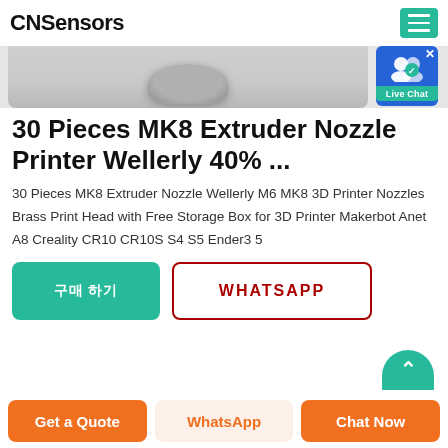CNSensors
[Figure (photo): Product photo showing part of a metal MK8 extruder nozzle against a gray background]
[Figure (other): Live Chat badge with user icon and green label]
30 Pieces MK8 Extruder Nozzle Printer Wellerly 40% ...
30 Pieces MK8 Extruder Nozzle Wellerly M6 MK8 3D Printer Nozzles Brass Print Head with Free Storage Box for 3D Printer Makerbot Anet A8 Creality CR10 CR10S S4 S5 Ender3 5
구매 하기 (Buy button)
WHATSAPP
Get a Quote
WhatsApp
Chat Now